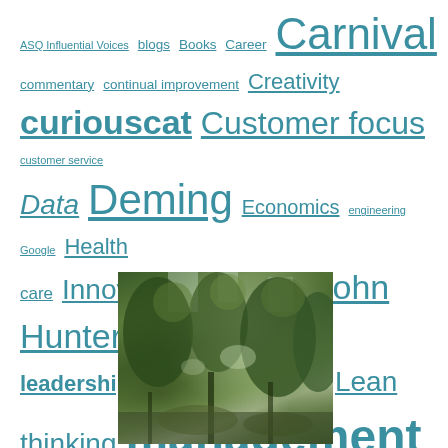ASQ Influential Voices blogs Books Career Carnival commentary continual improvement Creativity curiouscat Customer focus customer service Data Deming Economics engineering Google Health care Innovation internet Investing IT John Hunter leadership lean manufacturing Lean thinking management Management managing people Manufacturing organization as a system Popular Process improvement Psychology Public Sector Quality tools quote respect for people Six sigma Software Development Statistics Systems thinking tips Toyota Toyota Production System (TPS) webcast
[Figure (photo): Photograph of a forested area with tall trees and green foliage]